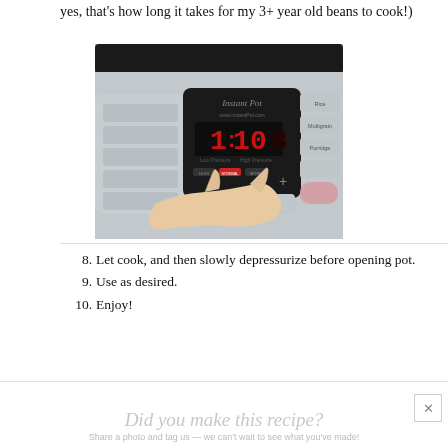yes, that's how long it takes for my 3+ year old beans to cook!)
[Figure (photo): An Instant Pot pressure cooker with display showing 1:10, a hand pressing a button on the control panel. The display panel shows 'Instant Pot' branding and www.InstantPot.com.]
8. Let cook, and then slowly depressurize before opening pot.
9. Use as desired.
10. Enjoy!
Did you make this recipe?
Share a photo and tag us — we can't wait to see what you've made!